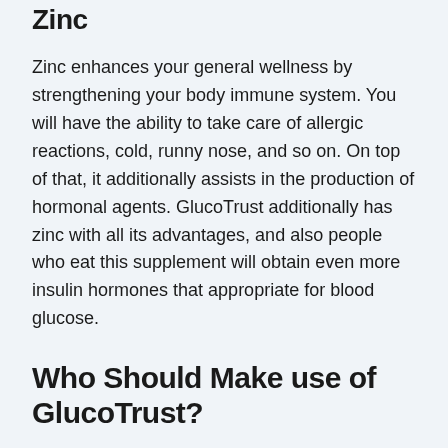Zinc
Zinc enhances your general wellness by strengthening your body immune system. You will have the ability to take care of allergic reactions, cold, runny nose, and so on. On top of that, it additionally assists in the production of hormonal agents. GlucoTrust additionally has zinc with all its advantages, and also people who eat this supplement will obtain even more insulin hormones that appropriate for blood glucose.
Who Should Make use of GlucoTrust?
It is perfect to have a healthy blood sugar level and to...